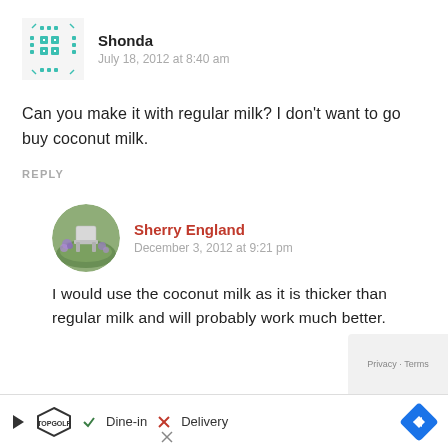Shonda
July 18, 2012 at 8:40 am
Can you make it with regular milk? I don't want to go buy coconut milk.
REPLY
Sherry England
December 3, 2012 at 9:21 pm
I would use the coconut milk as it is thicker than regular milk and will probably work much better.
Dine-in  X  Delivery